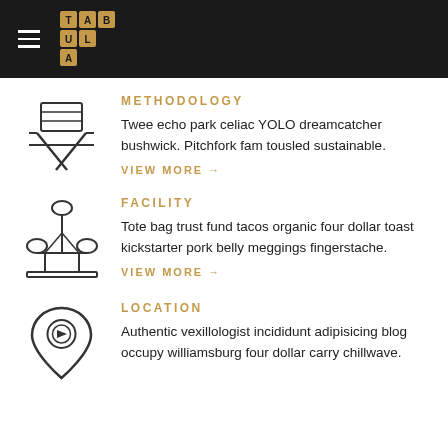TABULA
METHODOLOGY
Twee echo park celiac YOLO dreamcatcher bushwick. Pitchfork fam tousled sustainable.
VIEW MORE →
FACILITY
Tote bag trust fund tacos organic four dollar toast kickstarter pork belly meggings fingerstache.
VIEW MORE →
LOCATION
Authentic vexillologist incididunt adipisicing blog occupy williamsburg four dollar carry chillwave.